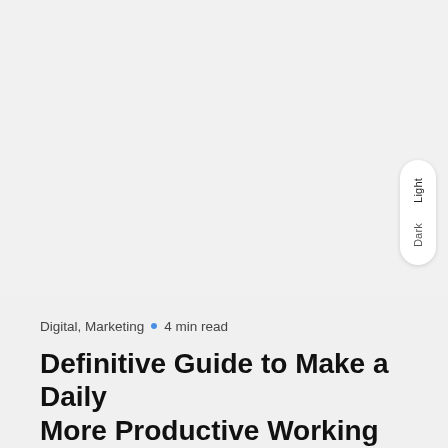[Figure (other): UI theme toggle widget with 'Light' and 'Dark' options displayed vertically on the right side of the page]
Digital, Marketing · 4 min read
Definitive Guide to Make a Daily More Productive Working The...